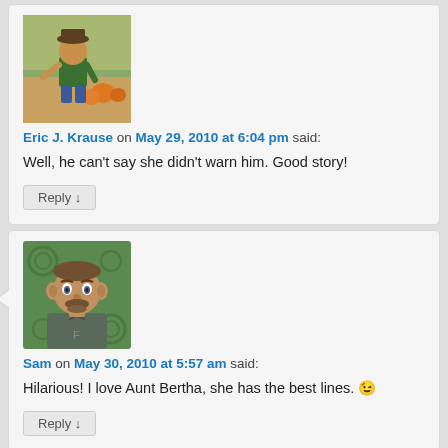[Figure (photo): Avatar photo of Eric J. Krause, person outdoors with pumpkins]
Eric J. Krause on May 29, 2010 at 6:04 pm said:
Well, he can't say she didn't warn him. Good story!
Reply ↓
[Figure (illustration): Avatar illustration of Sam, cartoon-style bearded man with green background]
Sam on May 30, 2010 at 5:57 am said:
Hilarious! I love Aunt Bertha, she has the best lines. 😉
Reply ↓